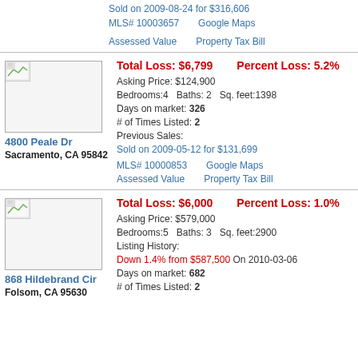Sold on 2009-08-24 for $316,606
MLS# 10003657   Google Maps
Assessed Value   Property Tax Bill
Total Loss: $6,799   Percent Loss: 5.2%
Asking Price: $124,900
Bedrooms:4   Baths: 2   Sq. feet:1398
Days on market: 326
# of Times Listed: 2
Previous Sales: Sold on 2009-05-12 for $131,699
MLS# 10000853   Google Maps
Assessed Value   Property Tax Bill
4800 Peale Dr
Sacramento, CA 95842
Total Loss: $6,000   Percent Loss: 1.0%
Asking Price: $579,000
Bedrooms:5   Baths: 3   Sq. feet:2900
Listing History: Down 1.4% from $587,500 On 2010-03-06
Days on market: 682
# of Times Listed: 2
868 Hildebrand Cir
Folsom, CA 95630